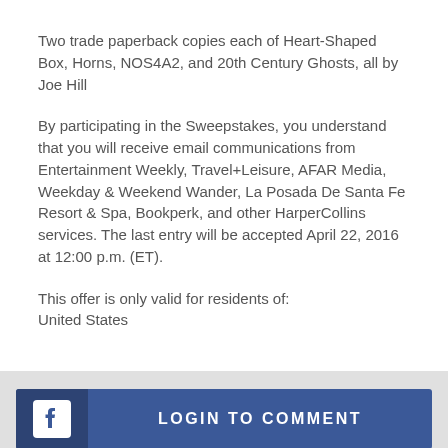Two trade paperback copies each of Heart-Shaped Box, Horns, NOS4A2, and 20th Century Ghosts, all by Joe Hill
By participating in the Sweepstakes, you understand that you will receive email communications from Entertainment Weekly, Travel+Leisure, AFAR Media, Weekday & Weekend Wander, La Posada De Santa Fe Resort & Spa, Bookperk, and other HarperCollins services. The last entry will be accepted April 22, 2016 at 12:00 p.m. (ET).
This offer is only valid for residents of:
United States
[Figure (screenshot): Facebook LOGIN TO COMMENT button with Facebook logo icon on left side and blue background]
START THE CONVERSATION! BE THE FIRST TO COMMENT.